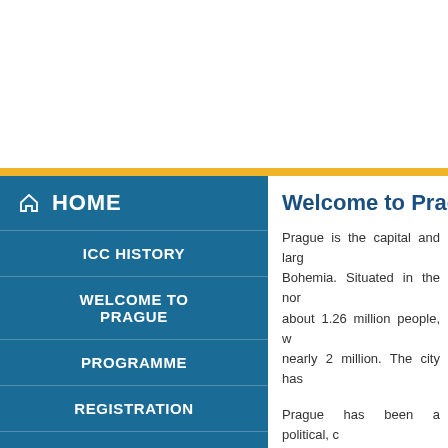HOME
ICC HISTORY
WELCOME TO PRAGUE
PROGRAMME
REGISTRATION
ABSTRACT SUBMISSION
GENERAL INFO
Welcome to Prague
Prague is the capital and larg Bohemia. Situated in the nor about 1.26 million people, w nearly 2 million. The city has
Prague has been a political, c waning fortunes during its 1 perfect place for those who make it a perfect place to sp Castle, the Charles Bridge, C